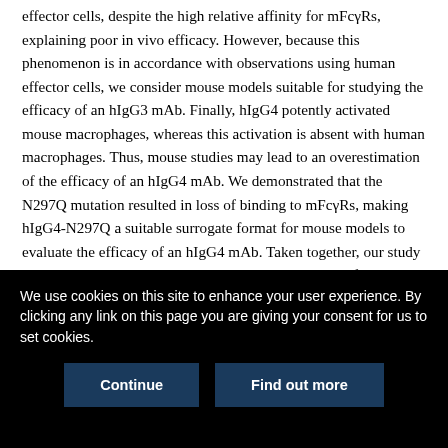effector cells, despite the high relative affinity for mFcγRs, explaining poor in vivo efficacy. However, because this phenomenon is in accordance with observations using human effector cells, we consider mouse models suitable for studying the efficacy of an hIgG3 mAb. Finally, hIgG4 potently activated mouse macrophages, whereas this activation is absent with human macrophages. Thus, mouse studies may lead to an overestimation of the efficacy of an hIgG4 mAb. We demonstrated that the N297Q mutation resulted in loss of binding to mFcγRs, making hIgG4-N297Q a suitable surrogate format for mouse models to evaluate the efficacy of an hIgG4 mAb. Taken together, our study provides a comprehensive and strong knowledge base for testing human mAb cell-mediated
We use cookies on this site to enhance your user experience. By clicking any link on this page you are giving your consent for us to set cookies.